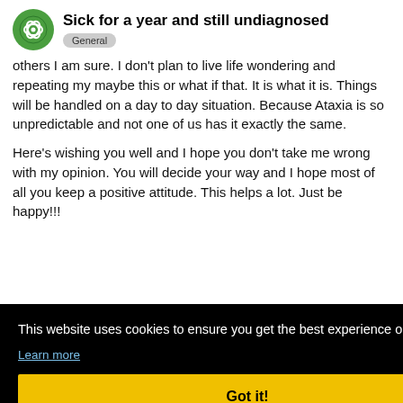Sick for a year and still undiagnosed | General
others I am sure. I don't plan to live life wondering and repeating my maybe this or what if that. It is what it is. Things will be handled on a day to day situation. Because Ataxia is so unpredictable and not one of us has it exactly the same.
Here's wishing you well and I hope you don't take me wrong with my opinion. You will decide your way and I hope most of all you keep a positive attitude. This helps a lot. Just be happy!!!
This website uses cookies to ensure you get the best experience on our website. Learn more
Got it!
May '13
am not adjusting very well as in the past